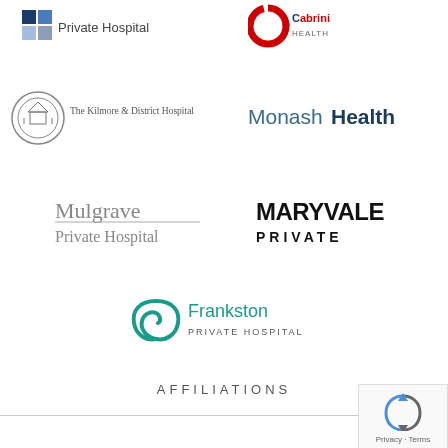[Figure (logo): NN Private Hospital logo with two blue squares and text]
[Figure (logo): Cabrini logo with red swirl C and blue/red text]
[Figure (logo): The Kilmore & District Hospital logo with circular emblem]
[Figure (logo): Monash Health logo in teal/dark blue text]
[Figure (logo): Mulgrave Private Hospital logo in grey text]
[Figure (logo): Maryvale Private logo in bold black text]
[Figure (logo): Frankston Private Hospital logo with teal spiral icon]
AFFILIATIONS
[Figure (other): reCAPTCHA widget with Privacy - Terms text]